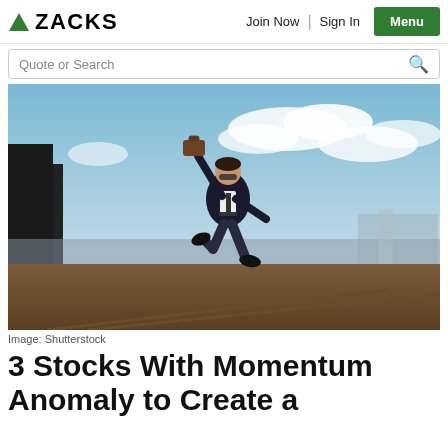ZACKS | Join Now | Sign In | Menu
Quote or Search
[Figure (photo): Man in suit jumping exuberantly on a rooftop or bridge, holding a briefcase aloft, with a blue sky and clouds in the background.]
Image: Shutterstock
3 Stocks With Momentum Anomaly to Create a